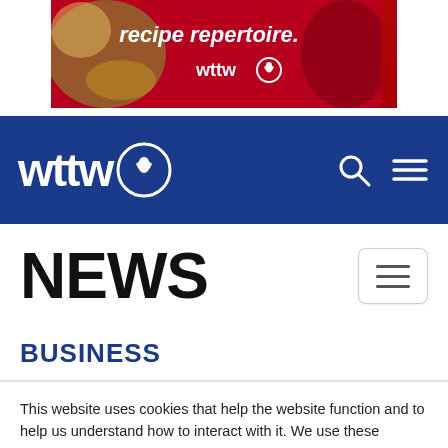[Figure (screenshot): WTTW advertisement banner showing recipe-themed food imagery with red background and text 'recipe repertoire. wttw']
wttw [PBS logo]
NEWS
BUSINESS
This website uses cookies that help the website function and to help us understand how to interact with it. We use these cookies to provide you with improved and customized user-experience. If you continue to the use of the website, we assume that you are okay with it.
Got It